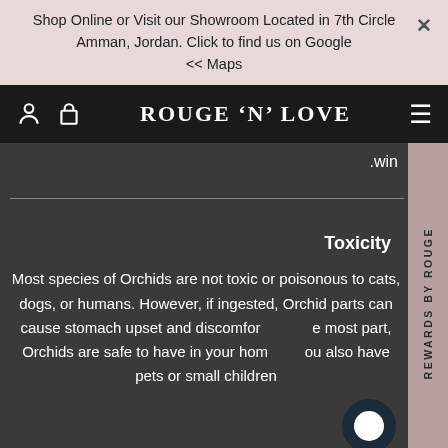Shop Online or Visit our Showroom Located in 7th Circle Amman, Jordan. Click to find us on Google << Maps
ROUGE 'N' LOVE
REWARDS BY ROUGE
Toxicity
Most species of Orchids are not toxic or poisonous to cats, dogs, or humans. However, if ingested, Orchid parts can cause stomach upset and discomfort. For the most part, Orchids are safe to have in your home if you also have pets or small children